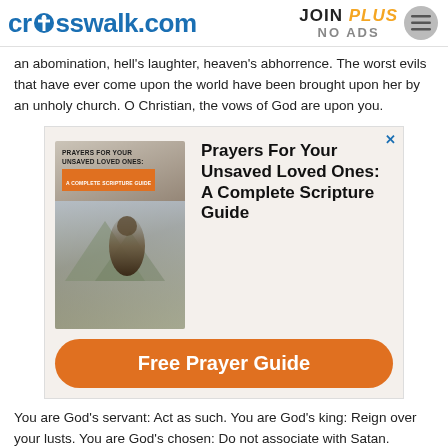crosswalk.com | JOIN PLUS NO ADS
an abomination, hell's laughter, heaven's abhorrence. The worst evils that have ever come upon the world have been brought upon her by an unholy church. O Christian, the vows of God are upon you.
[Figure (infographic): Advertisement for 'Prayers For Your Unsaved Loved Ones: A Complete Scripture Guide' with a book image and orange 'Free Prayer Guide' button.]
You are God's servant: Act as such. You are God's king: Reign over your lusts. You are God's chosen: Do not associate with Satan. Heaven is your portion: Live like a heavenly spirit, and in this way you will prove that you have true faith in Jesus, for there cannot be faith in the heart unless there